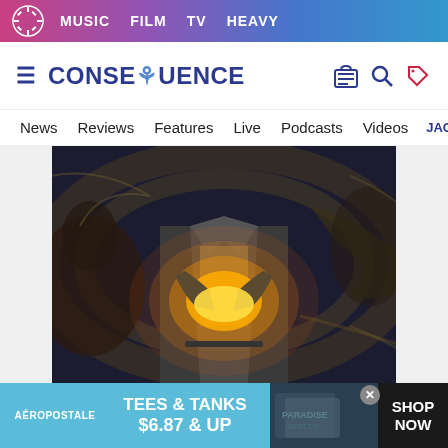MUSIC  FILM  TV  HEAVY
[Figure (logo): Consequence of Sound logo with snowflake/asterisk icon and site name CONSEQUENCE]
News  Reviews  Features  Live  Podcasts  Videos  JACK WH
[Figure (photo): A person in a grey blazer with hands clasped together at chest level emitting golden light, surrounded by swirling mystical figures in a dark fantasy setting]
[Figure (infographic): Aeropostale advertisement banner reading: AEROPOSTALE TEES & TANKS $6.87 & UP SHOP NOW with product photo]